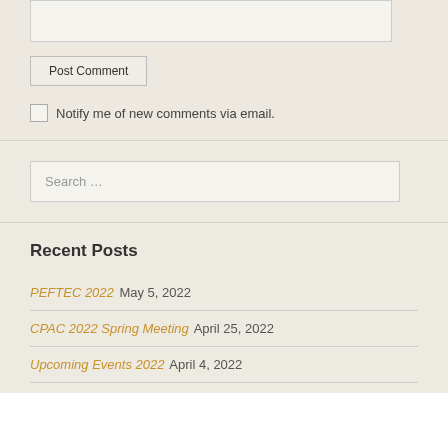[textarea box]
Post Comment
Notify me of new comments via email.
Search ...
Recent Posts
PEFTEC 2022 May 5, 2022
CPAC 2022 Spring Meeting April 25, 2022
Upcoming Events 2022 April 4, 2022